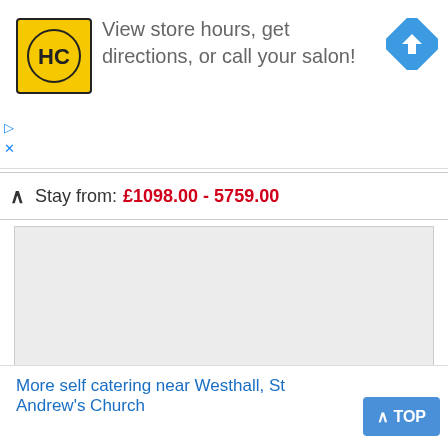[Figure (logo): HC salon logo - yellow square with HC letters and black border]
View store hours, get directions, or call your salon!
[Figure (illustration): Blue diamond navigation/directions arrow icon]
Stay from: £1098.00 - 5759.00
[Figure (photo): Listing photo area for 28 Stone Cottage, Thorington - image placeholder]
28 Stone Cottage, Thorington - 5.6 miles
Thorington, Suffolk
Sleeps: 5
Stay from: £253.00 - 1492.00
More self catering near Westhall, St Andrew's Church